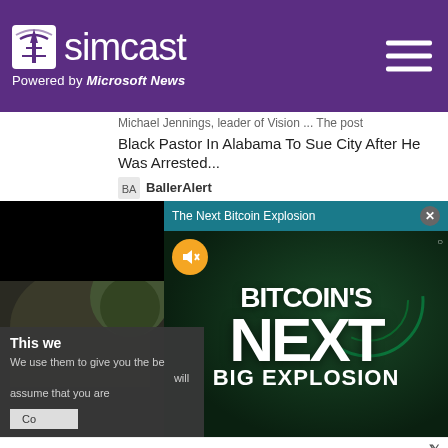simcast — Powered by Microsoft News
Michael Jennings, leader of Vision ... The post Black Pastor In Alabama To Sue City After He Was Arrested...
BallerAlert
[Figure (screenshot): Video player showing a person outdoors, overlaid with a popup ad for 'The Next Bitcoin Explosion' showing BITCOIN'S NEXT BIG EXPLOSION text on dark green background, with a mute button, close button (X), and settings icon. A cookie consent notice partially visible on the left side.]
[Figure (screenshot): Banner advertisement: Save Up To $110 On New Tires — VirginiaTire & Auto of Ashburn Fa. with Tires Plus logo and blue arrow icon. Twitter X logo top right. Play and X icons bottom left.]